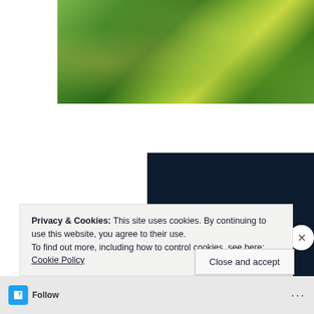[Figure (photo): Partial view of a lush green garden with flowers and foliage, top portion of a webpage screenshot]
[Figure (infographic): Dark navy blue panel with white serif text reading 'Opinions. We all have them' and a magenta rounded 'Start a survey' button below]
Privacy & Cookies: This site uses cookies. By continuing to use this website, you agree to their use.
To find out more, including how to control cookies, see here: Cookie Policy
Close and accept